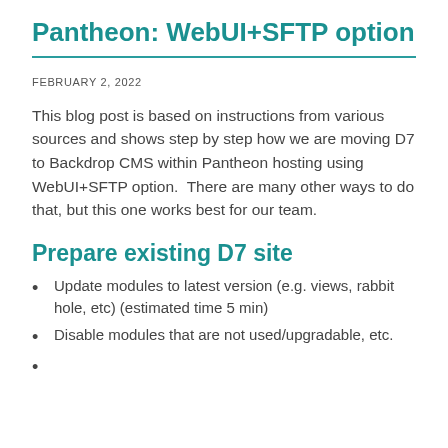Pantheon: WebUI+SFTP option
FEBRUARY 2, 2022
This blog post is based on instructions from various sources and shows step by step how we are moving D7 to Backdrop CMS within Pantheon hosting using WebUI+SFTP option.  There are many other ways to do that, but this one works best for our team.
Prepare existing D7 site
Update modules to latest version (e.g. views, rabbit hole, etc) (estimated time 5 min)
Disable modules that are not used/upgradable, etc.